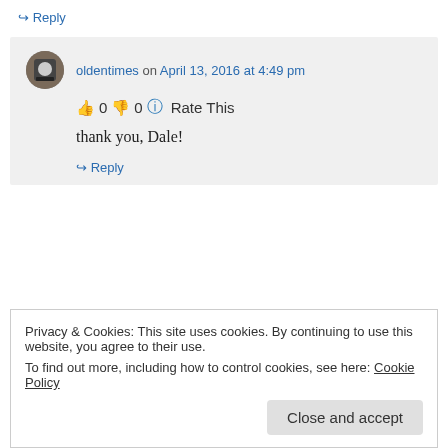↪ Reply
oldentimes on April 13, 2016 at 4:49 pm
👍 0 👎 0 ℹ Rate This
thank you, Dale!
↪ Reply
Privacy & Cookies: This site uses cookies. By continuing to use this website, you agree to their use.
To find out more, including how to control cookies, see here: Cookie Policy
Close and accept